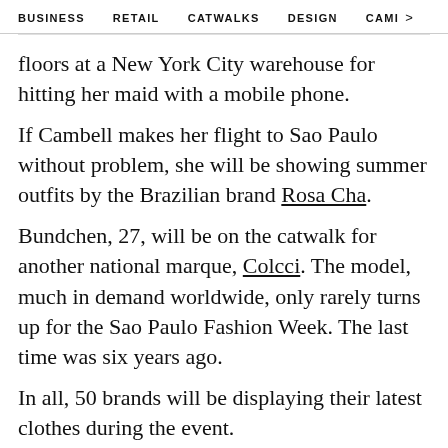BUSINESS   RETAIL   CATWALKS   DESIGN   CAMI  >
floors at a New York City warehouse for hitting her maid with a mobile phone.
If Cambell makes her flight to Sao Paulo without problem, she will be showing summer outfits by the Brazilian brand Rosa Cha.
Bundchen, 27, will be on the catwalk for another national marque, Colcci. The model, much in demand worldwide, only rarely turns up for the Sao Paulo Fashion Week. The last time was six years ago.
In all, 50 brands will be displaying their latest clothes during the event.
The themes this year is Japanese immigration, coinciding with celebrations underway in Brazil marking the centenary of Japanese making their way to the country to